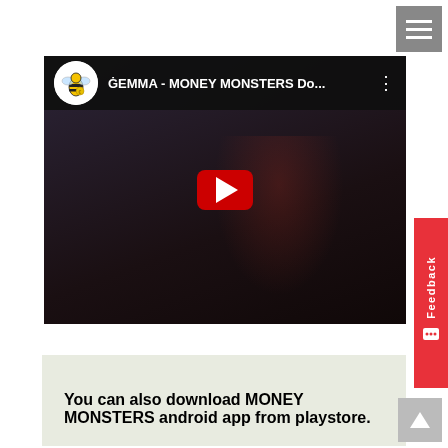[Figure (screenshot): YouTube video thumbnail showing a woman in a red jacket in a dark setting, with the video title 'ĠEMMA - MONEY MONSTERS Do...' and a bee logo avatar in the top bar, and a red play button in the center.]
You can also download MONEY MONSTERS android app from playstore.